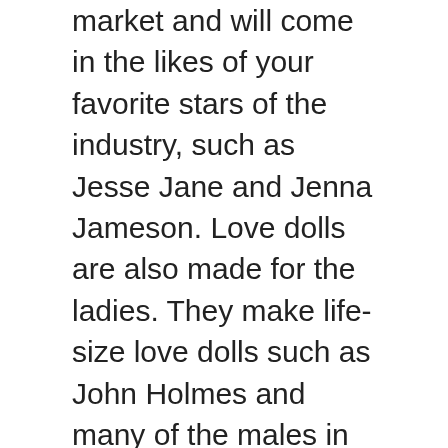market and will come in the likes of your favorite stars of the industry, such as Jesse Jane and Jenna Jameson. Love dolls are also made for the ladies. They make life-size love dolls such as John Holmes and many of the males in the sex industry, also accessible are realistic sex dolls that come in a different profession such as a construction worker. For the more alternative type of sex doll, transsexual sex dolls and even a doll that does not fit in to the slim and trim category.
These great companions are as life like as they get, some are made with soft and very sturdy latex, and some are made from hygienic surgical grade Latex for the perfect feel and fit. CyberSkin and IsoFoam are also offered as an alternative to